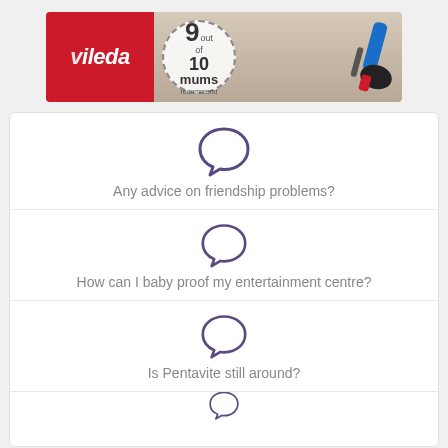[Figure (photo): Vileda advertisement banner showing logo, '9 out of 10 mums recommend' badge, and a blue mop on wooden floor background]
Any advice on friendship problems?
How can I baby proof my entertainment centre?
Is Pentavite still around?
[Figure (illustration): Partial speech bubble icon at bottom of page]